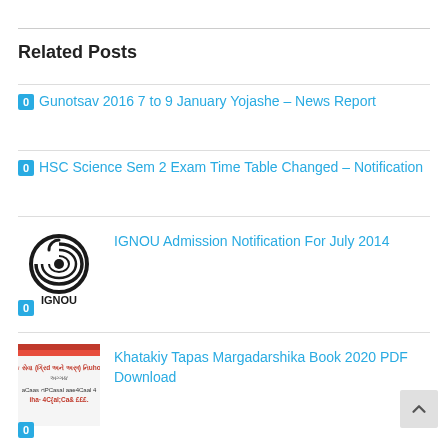Related Posts
0 Gunotsav 2016 7 to 9 January Yojashe – News Report
0 HSC Science Sem 2 Exam Time Table Changed – Notification
IGNOU Admission Notification For July 2014
Khatakiy Tapas Margadarshika Book 2020 PDF Download